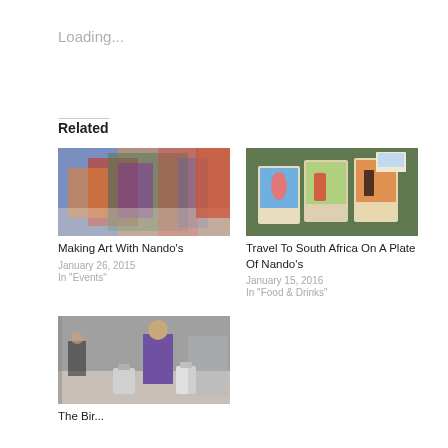Loading...
Related
[Figure (photo): Colorful artwork painting displayed at Nando's event]
Making Art With Nando’s
January 26, 2015
In "Events"
[Figure (photo): Illustrated cards/postcards laid out on a green surface, depicting people]
Travel To South Africa On A Plate Of Nando’s
January 15, 2016
In "Food & Drinks"
[Figure (photo): People in an airport or event hall with luggage]
The Bir...